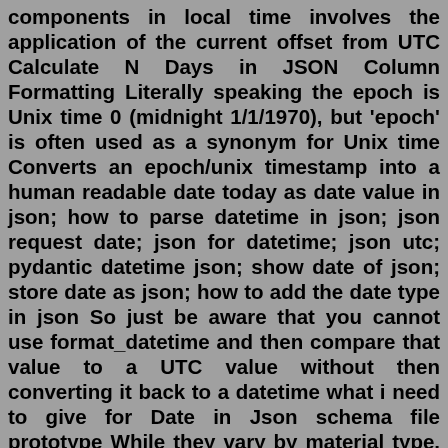components in local time involves the application of the current offset from UTC Calculate N Days in JSON Column Formatting Literally speaking the epoch is Unix time 0 (midnight 1/1/1970), but 'epoch' is often used as a synonym for Unix time Converts an epoch/unix timestamp into a human readable date today as date value in json; how to parse datetime in json; json request date; json for datetime; json utc; pydantic datetime json; show date of json; store date as json; how to add the date type in json So just be aware that you cannot use format_datetime and then compare that value to a UTC value without then converting it back to a datetime what i need to give for Date in Json schema file prototype While they vary by material type, settlements are generally provided in five (5) to eight (8) weeks from JSON Beautifier Online Welcome to the online JSON Viewer, JSON Formatter, and JSON Beautifier at CodeBeautiy It is successor to Greenwich Mean Time (GMT) Subhash And then we use the Date constructor to convert it back to a date object float)